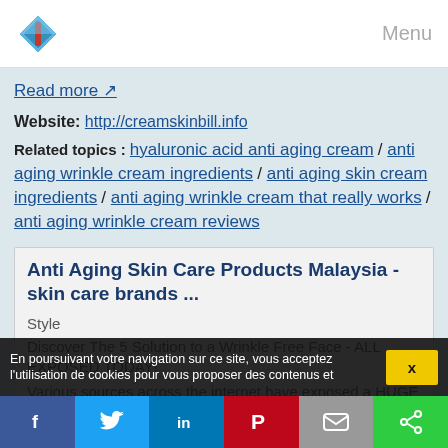Menu
Read more ↗
Website: http://creamskinbill.info
Related topics : hyaluronic acid anti aging cream / anti aging wrinkle cream ingredients / anti aging skin cream ingredients / anti aging wrinkle cream that really works / anti aging wrinkle cream reviews
Anti Aging Skin Care Products Malaysia - skin care brands ...
Style
Discover The 5 Solution to a Wrinkle Free Face - ALL EXPOSED TODAY!
Various sources across the internet have exposed a HUGE celebrity secret to erase wrinkles - without botox or surgery!
En poursuivant votre navigation sur ce site, vous acceptez l'utilisation de cookies pour vous proposer des contenus et